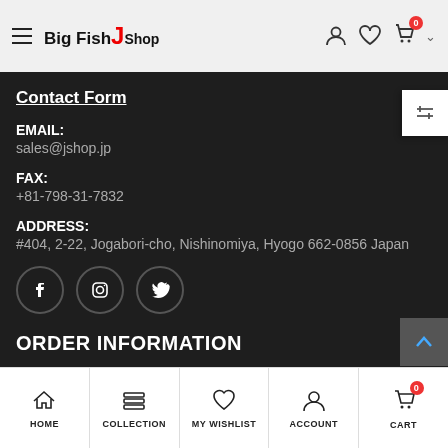Big Fish J Shop — navigation header with hamburger menu and cart icon showing 0 items
Contact Form
EMAIL:
sales@jshop.jp
FAX:
+81-798-31-7832
ADDRESS:
#404, 2-22, Jogabori-cho, Nishinomiya, Hyogo 662-0856 Japan
ORDER INFORMATION
Rating Guideline for Used Items
HOME | COLLECTION | MY WISHLIST | ACCOUNT | CART